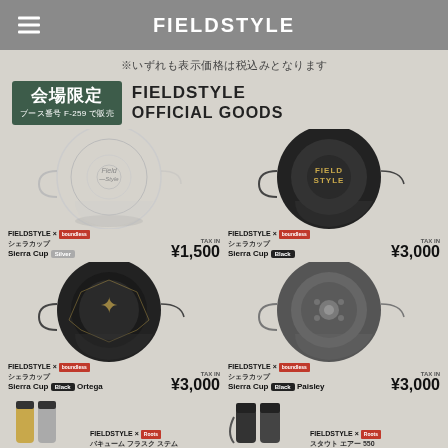FIELDSTYLE
※いずれも表示価格は税込みとなります
会場限定 ブース番号F-259で販売 FIELDSTYLE OFFICIAL GOODS
[Figure (photo): FIELDSTYLE x Boundless Sierra Cup Silver - ¥1,500]
[Figure (photo): FIELDSTYLE x Boundless Sierra Cup Black - ¥3,000]
[Figure (photo): FIELDSTYLE x Boundless Sierra Cup Black Ortega - ¥3,000]
[Figure (photo): FIELDSTYLE x Boundless Sierra Cup Black Paisley - ¥3,000]
[Figure (photo): FIELDSTYLE x Roots Vacuum Flask Stem]
[Figure (photo): FIELDSTYLE x Roots Stout Air 550]